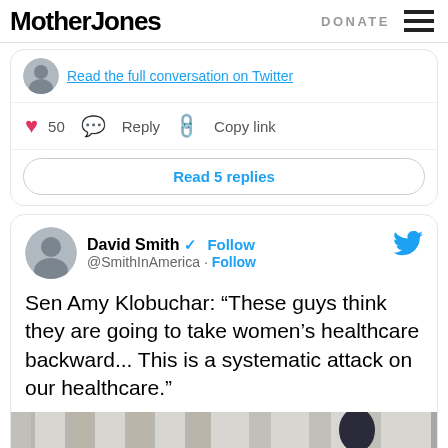Mother Jones | DONATE
Read the full conversation on Twitter
50  Reply  Copy link
Read 5 replies
David Smith @SmithInAmerica · Follow
Sen Amy Klobuchar: "These guys think they are going to take women's healthcare backward... This is a systematic attack on our healthcare."
[Figure (photo): Photograph of large stone columns, likely a courthouse or government building, with a microphone visible]